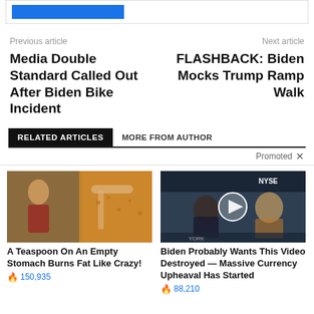[Figure (screenshot): Top partial box with blue button visible]
Previous article
Next article
Media Double Standard Called Out After Biden Bike Incident
FLASHBACK: Biden Mocks Trump Ramp Walk
RELATED ARTICLES
MORE FROM AUTHOR
Promoted ×
[Figure (photo): Fitness/spice teaspoon composite image]
A Teaspoon On An Empty Stomach Burns Fat Like Crazy!
🔥 150,935
[Figure (photo): NYSE trading floor video thumbnail with play button]
Biden Probably Wants This Video Destroyed — Massive Currency Upheaval Has Started
🔥 88,210